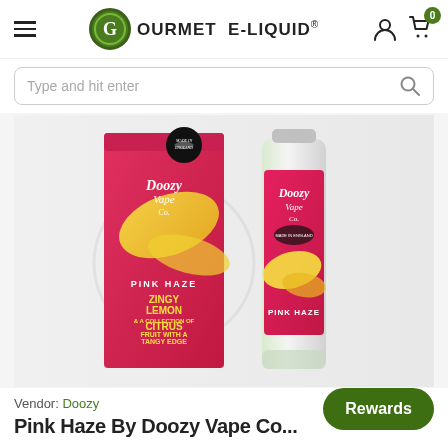GOURMET E-LIQUID® (navigation header with hamburger menu, logo, person icon, cart icon with badge 0)
Type and hit enter (search bar)
[Figure (photo): Product photo showing Doozy Vape Co Pink Haze e-liquid box and bottle. The box is pink/red with gold design, text reads: PINK HAZE, ZINGY LEMON & A COLLECTION OF CITRUS FRUIT WITH A TANGY EDGE, Doozy Vape Co, Made in England. The bottle is a tall glass bottle with matching pink/red label showing Doozy Vape Co, PINK HAZE branding with yellow swirl design.]
Vendor: Doozy
Pink Haze By Doozy Vape Co...